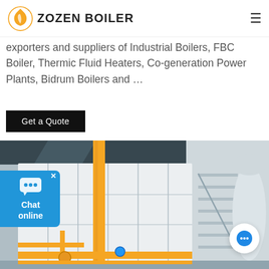ZOZEN BOILER
exporters and suppliers of Industrial Boilers, FBC Boiler, Thermic Fluid Heaters, Co-generation Power Plants, Bidrum Boilers and …
Get a Quote
[Figure (photo): Industrial boiler installation with white boiler units, yellow gas pipes/fittings on the floor, and a metal staircase on the right side inside a factory building.]